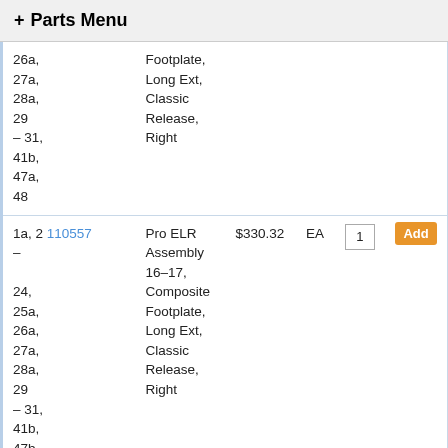+ Parts Menu
| Ref | Part No | Description | Price | UOM | Qty |  |
| --- | --- | --- | --- | --- | --- | --- |
| 26a,
27a,
28a,
29
– 31,
41b,
47a,
48 |  | Footplate,
Long Ext,
Classic
Release,
Right |  |  |  |  |
| 1a, 2
–
24,
25a,
26a,
27a,
28a,
29
– 31,
41b,
47b,
48 | 110557 | Pro ELR
Assembly
16–17,
Composite
Footplate,
Long Ext,
Classic
Release,
Right | $330.32 | EA | 1 | Add |